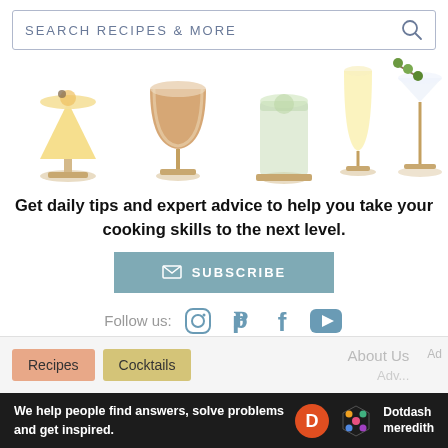SEARCH RECIPES & MORE
[Figure (illustration): Five illustrated cocktail drinks in a row: margarita, brown cocktail in coupe glass, gin & tonic, champagne flute, martini with olives]
Get daily tips and expert advice to help you take your cooking skills to the next level.
✉ SUBSCRIBE
Follow us:
[Figure (infographic): Social media icons: Instagram, Pinterest, Facebook, YouTube]
Recipes
Cocktails
About Us
Ad
We help people find answers, solve problems and get inspired. Dotdash meredith